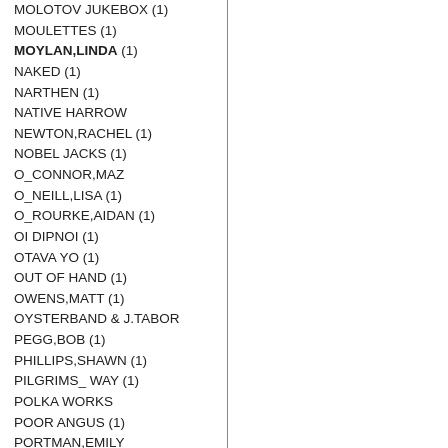MOLOTOV JUKEBOX (1)
MOULETTES (1)
MOYLAN,LINDA (1)
NAKED (1)
NARTHEN (1)
NATIVE HARROW
NEWTON,RACHEL (1)
NOBEL JACKS (1)
O_CONNOR,MAZ
O_NEILL,LISA (1)
O_ROURKE,AIDAN (1)
OI DIPNOI (1)
OTAVA YO (1)
OUT OF HAND (1)
OWENS,MATT (1)
OYSTERBAND & J.TABOR
PEGG,BOB (1)
PHILLIPS,SHAWN (1)
PILGRIMS_ WAY (1)
POLKA WORKS
POOR ANGUS (1)
PORTMAN,EMILY
POUND,WILL (2)
POUND,WILL &JAY,EDDY (1)
PREMO,LAUREL (1)
PRIDDY,KATHERINE (1)
PRIOR,M.,JAMES,H. (1)
RAE,FREYA RINGHAM,L. (1)